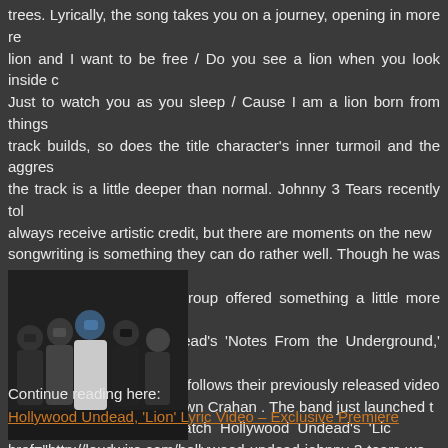trees. Lyrically, the song takes you on a journey, opening in more re... lion and I want to be free / Do you see a lion when you look inside c... Just to watch you as you sleep / Cause I am a lion born from things... track builds, so does the title character's inner turmoil and the aggres... the track is a little deeper than normal. Johnny 3 Tears recently tol... always receive artistic credit, but there are moments on the new... songwriting is something they can do rather well. Though he was no... 'Lion,' it's clear that the group offered something a little more persona... heard on Hollywood Undead's 'Notes From the Underground,' whi... purchase here . The song follows their previously released video... directed by Slipknot 's Shawn Crahan . The band just launched t... support of the album. Watch Hollywood Undead's 'Lic... href="http://loudwire.com/hollywood-undead-johnny-3-tears-we-are-ins... title="Next: Hollywood Undead's Johnny 3 Tears Discusses 'We Are' In...
[Figure (photo): Group photo of Hollywood Undead band members wearing masks, standing together against a dark background.]
Continue reading here:
Hollywood Undead, 'Lion' Lyric Video – Exclusive Premiere